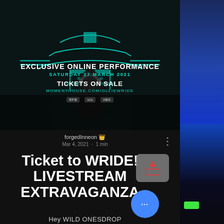[Figure (photo): Concert event poster with neon pagoda/temple background, person with headphones silhouette, for WRIDE exclusive online performance]
EXCLUSIVE ONLINE PERFORMANCE
SATURDAY 27 MARCH 2021
TICKETS ON SALE
MOMENTHOUSE.COM/OLLIEWRIDE
forgedInneon 👑
Mar 4, 2021 · 1 min
Ticket to WRIDE! LIVESTREAM EXTRAVAGANZA
Hey WILD ONESDROP